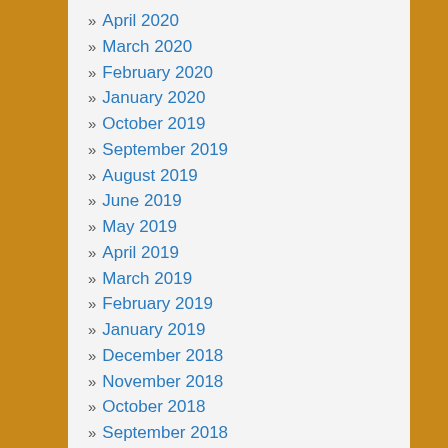April 2020
March 2020
February 2020
January 2020
October 2019
September 2019
August 2019
June 2019
May 2019
April 2019
March 2019
February 2019
January 2019
December 2018
November 2018
October 2018
September 2018
August 2018
July 2018
June 2018
May 2018